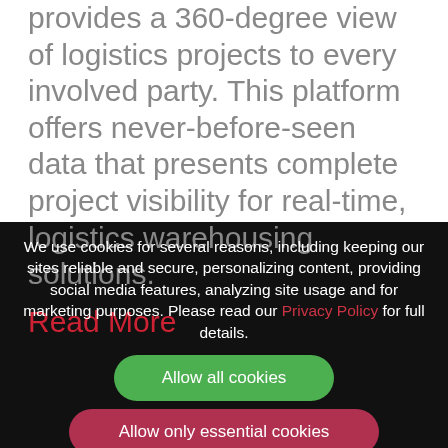provides a 360-degree view of logistics projects to every involved party. This platform offers never-before-seen data that presents complete project visibility for real-time, logistics warehousing solutions.
Read More
We use cookies for several reasons, including keeping our sites reliable and secure, personalizing content, providing social media features, analyzing site usage and for marketing purposes. Please read our Privacy Policy for full details.
Allow all cookies
Allow only essential cookies
Deny all cookies